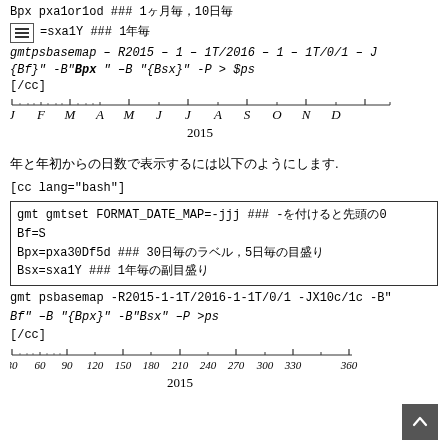Bpx pxa1or1od ### 1ヶ月毎，10日毎
=sxa1Y ### 1年毎
gmtpsbasemap – R2015 – 1 – 1T/2016 – 1 – 1T/0/1 – J
{Bf}" -B"Bpx " –B "{Bsx}" -P > $ps
[/cc]
[Figure (other): Ruler timeline showing months J F M A M J J A S O N D for year 2015]
年と年初からの日数で表示するには以下のようにします.
[cc lang="bash"]
gmt gmtset FORMAT_DATE_MAP=-jjj ### -を付けると先頭の0は
Bf=S
Bpx=pxa30Df5d ### 30日毎のラベル，5日毎の目盛り
Bsx=sxa1Y ### 1年毎の副目盛り
gmt psbasemap -R2015-1-1T/2016-1-1T/0/1 -JX10c/1c -B"
Bf" –B"{Bpx}" -B"Bsx" –P >ps
[/cc]
[Figure (other): Ruler timeline showing day-of-year values 30 60 90 120 150 180 210 240 270 300 330 360 for year 2015]